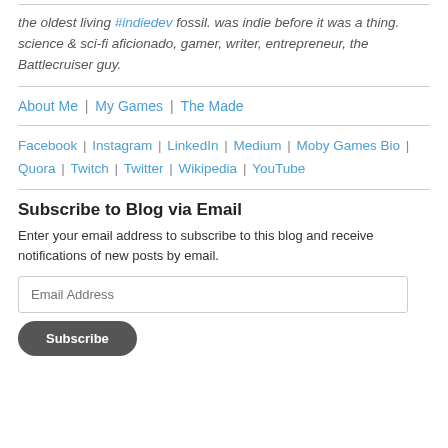the oldest living #indiedev fossil. was indie before it was a thing. science & sci-fi aficionado, gamer, writer, entrepreneur, the Battlecruiser guy.
About Me | My Games | The Made
Facebook | Instagram | LinkedIn | Medium | Moby Games Bio | Quora | Twitch | Twitter | Wikipedia | YouTube
Subscribe to Blog via Email
Enter your email address to subscribe to this blog and receive notifications of new posts by email.